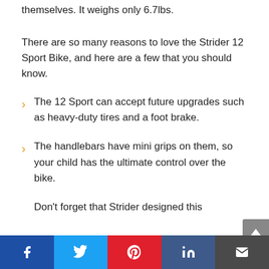themselves. It weighs only 6.7lbs.
There are so many reasons to love the Strider 12 Sport Bike, and here are a few that you should know.
The 12 Sport can accept future upgrades such as heavy-duty tires and a foot brake.
The handlebars have mini grips on them, so your child has the ultimate control over the bike.
Don't forget that Strider designed this
f  t  p  in  ✉